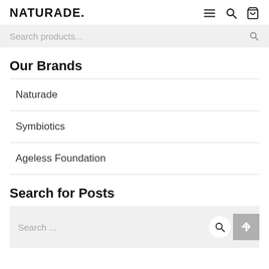NATURADE
Search products...
Our Brands
Naturade
Symbiotics
Ageless Foundation
Search for Posts
Search ...